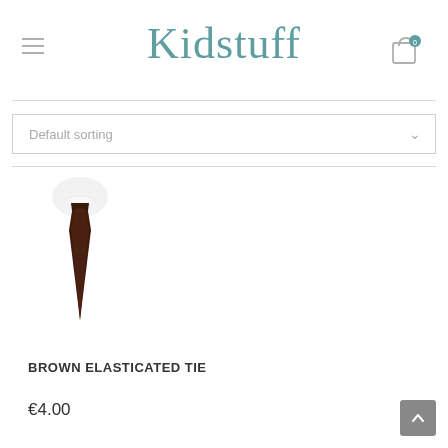Kidstuff
Default sorting
[Figure (illustration): Brown elasticated tie product image on white background with a small shirt collar icon above it]
BROWN ELASTICATED TIE
€4.00